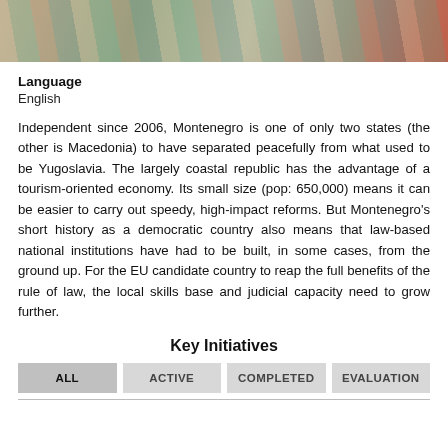[Figure (photo): Photo strip showing people in colorful clothing, partially cropped at top of page]
Language
English
Independent since 2006, Montenegro is one of only two states (the other is Macedonia) to have separated peacefully from what used to be Yugoslavia. The largely coastal republic has the advantage of a tourism-oriented economy. Its small size (pop: 650,000) means it can be easier to carry out speedy, high-impact reforms. But Montenegro's short history as a democratic country also means that law-based national institutions have had to be built, in some cases, from the ground up. For the EU candidate country to reap the full benefits of the rule of law, the local skills base and judicial capacity need to grow further.
Key Initiatives
ALL   ACTIVE   COMPLETED   EVALUATION